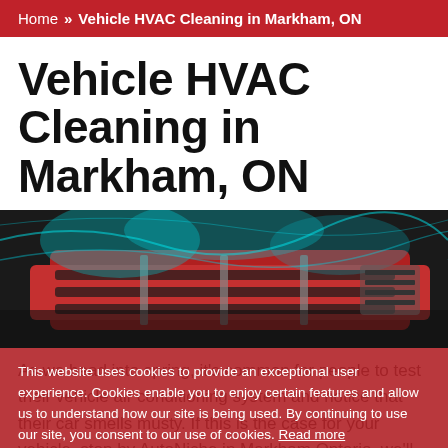Home >> Vehicle HVAC Cleaning in Markham, ON
Vehicle HVAC Cleaning in Markham, ON
[Figure (photo): Car interior AC vent with teal/blue air flow glow effect, dark red and black tones]
This website uses cookies to provide an exceptional user experience. Cookies enable you to enjoy certain features and allow us to understand how our site is being used. By continuing to use our site, you consent to our use of cookies. Read more
As we head into spring, it's common for people to test their vehicle air conditioning system and notice that their car smells musty. If this is the case for your vehicle, stop by AutoNiche in Markham Ontario, we'll get to